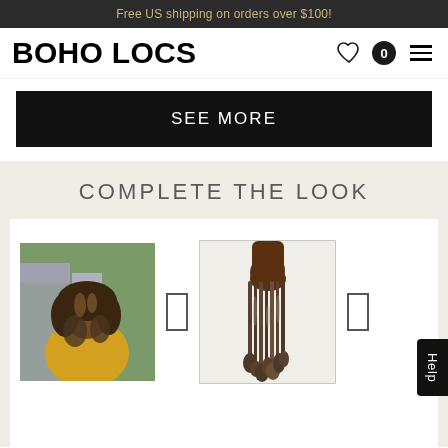Free US shipping on orders over $100!
BOHO LOCS
SEE MORE
COMPLETE THE LOOK
[Figure (photo): Woman with curly boho locs hairstyle wearing yellow jacket, outdoor urban setting]
[Figure (photo): Hand holding a bundle of curly boho loc hair extensions against white background]
Help